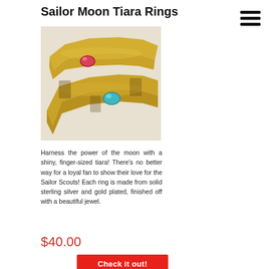Sailor Moon Tiara Rings
[Figure (photo): Close-up photo of two gold-plated Sailor Moon tiara rings, one with a pink/red gemstone and one with a teal/blue gemstone, styled to resemble the tiara from the Sailor Moon anime.]
Harness the power of the moon with a shiny, finger-sized tiara! There's no better way for a loyal fan to show their love for the Sailor Scouts! Each ring is made from solid sterling silver and gold plated, finished off with a beautiful jewel.
$40.00
Check it out!